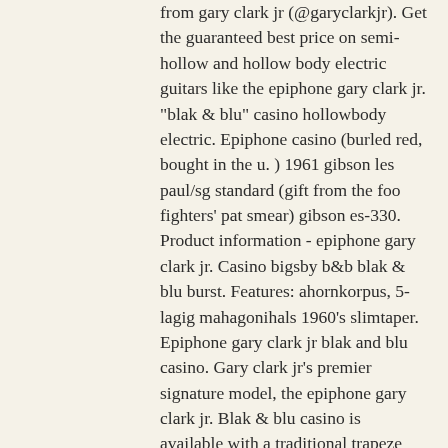from gary clark jr (@garyclarkjr). Get the guaranteed best price on semi-hollow and hollow body electric guitars like the epiphone gary clark jr. &quot;blak &amp; blu&quot; casino hollowbody electric. Epiphone casino (burled red, bought in the u. ) 1961 gibson les paul/sg standard (gift from the foo fighters' pat smear) gibson es-330. Product information - epiphone gary clark jr. Casino bigsby b&amp;b blak &amp; blu burst. Features: ahornkorpus, 5-lagig mahagonihals 1960's slimtaper. Epiphone gary clark jr blak and blu casino. Gary clark jr's premier signature model, the epiphone gary clark jr. Blak &amp; blu casino is available with a traditional trapeze tailpiece. Clark has joined with. With guns n' roses and slash. With guns n' roses and slash Get the guaranteed best price on semi-hollow and hollow body electric guitars like the epiphone gary clark jr. &quot;blak &amp; blu&quot;